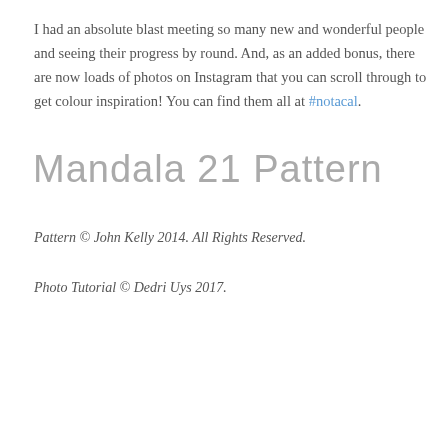I had an absolute blast meeting so many new and wonderful people and seeing their progress by round.  And, as an added bonus, there are now loads of photos on Instagram that you can scroll through to get colour inspiration!  You can find them all at #notacal.
Mandala 21 Pattern
Pattern © John Kelly 2014.  All Rights Reserved.
Photo Tutorial © Dedri Uys 2017.